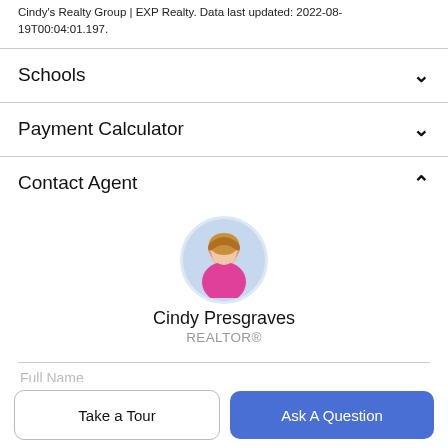Cindy's Realty Group | EXP Realty. Data last updated: 2022-08-19T00:04:01.197.
Schools
Payment Calculator
Contact Agent
[Figure (photo): Circular profile photo of Cindy Presgraves, a woman in a pink outfit]
Cindy Presgraves
REALTOR®
Full Name
Take a Tour
Ask A Question